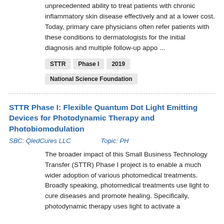unprecedented ability to treat patients with chronic inflammatory skin disease effectively and at a lower cost. Today, primary care physicians often refer patients with these conditions to dermatologists for the initial diagnosis and multiple follow-up appo ...
STTR
Phase I
2019
National Science Foundation
STTR Phase I: Flexible Quantum Dot Light Emitting Devices for Photodynamic Therapy and Photobiomodulation
SBC: QledCures LLC        Topic: PH
The broader impact of this Small Business Technology Transfer (STTR) Phase I project is to enable a much wider adoption of various photomedical treatments. Broadly speaking, photomedical treatments use light to cure diseases and promote healing. Specifically, photodynamic therapy uses light to activate a